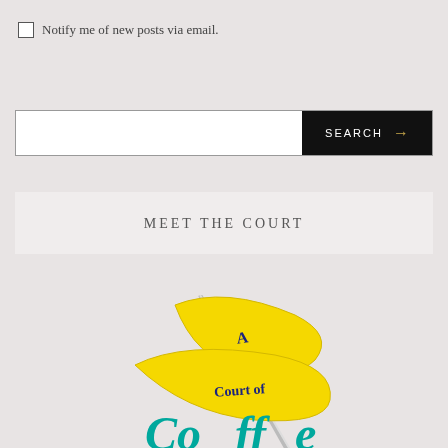Notify me of new posts via email.
SEARCH →
MEET THE COURT
[Figure (illustration): Book cover or logo illustration showing 'A Court of Coffee' text on a yellow ribbon banner wrapped around a sword, with teal/turquoise stylized lettering below spelling 'Coffee']